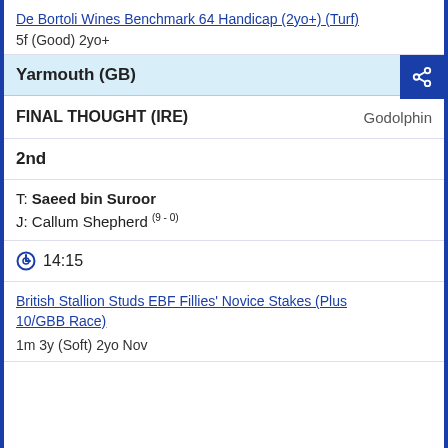De Bortoli Wines Benchmark 64 Handicap (2yo+) (Turf)
5f (Good) 2yo+
Yarmouth (GB)
FINAL THOUGHT (IRE)   Godolphin
2nd
T: Saeed bin Suroor
J: Callum Shepherd (9 - 0)
14:15
British Stallion Studs EBF Fillies' Novice Stakes (Plus 10/GBB Race)
1m 3y (Soft) 2yo Nov